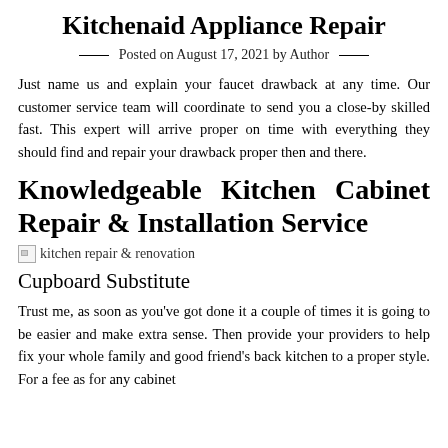Kitchenaid Appliance Repair
Posted on August 17, 2021 by Author
Just name us and explain your faucet drawback at any time. Our customer service team will coordinate to send you a close-by skilled fast. This expert will arrive proper on time with everything they should find and repair your drawback proper then and there.
Knowledgeable Kitchen Cabinet Repair & Installation Service
[Figure (photo): Image with alt text: kitchen repair & renovation]
Cupboard Substitute
Trust me, as soon as you've got done it a couple of times it is going to be easier and make extra sense. Then provide your providers to help fix your whole family and good friend's back kitchen to a proper style. For a fee as for any cabinet